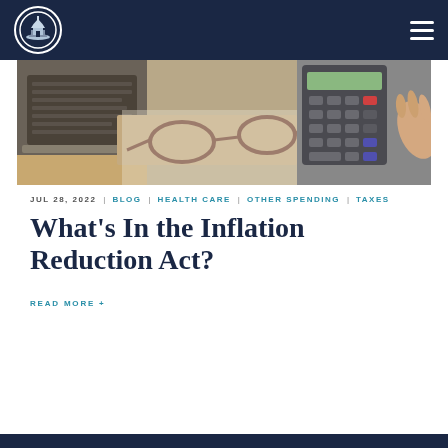[Figure (photo): Overhead photo of a desk with a laptop, calculator, glasses, and a hand pressing calculator keys on a wooden surface.]
JUL 28, 2022 | BLOG | HEALTH CARE | OTHER SPENDING | TAXES
What's In the Inflation Reduction Act?
READ MORE +